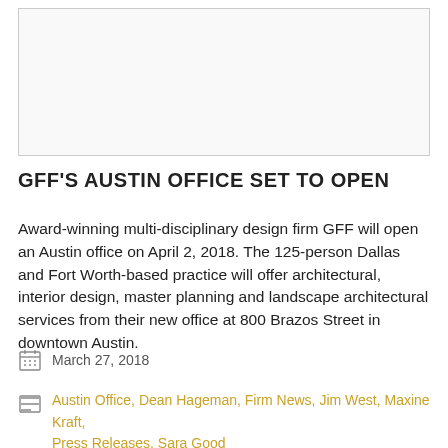[Figure (photo): Placeholder image area, blank/light gray with border]
GFF'S AUSTIN OFFICE SET TO OPEN
Award-winning multi-disciplinary design firm GFF will open an Austin office on April 2, 2018. The 125-person Dallas and Fort Worth-based practice will offer architectural, interior design, master planning and landscape architectural services from their new office at 800 Brazos Street in downtown Austin.
March 27, 2018
Austin Office, Dean Hageman, Firm News, Jim West, Maxine Kraft, Press Releases, Sara Good